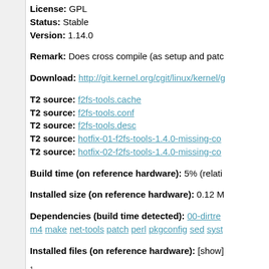License: GPL
Status: Stable
Version: 1.14.0
Remark: Does cross compile (as setup and patc…
Download: http://git.kernel.org/cgit/linux/kernel/g…
T2 source: f2fs-tools.cache
T2 source: f2fs-tools.conf
T2 source: f2fs-tools.desc
T2 source: hotfix-01-f2fs-tools-1.4.0-missing-co…
T2 source: hotfix-02-f2fs-tools-1.4.0-missing-co…
Build time (on reference hardware): 5% (relati…
Installed size (on reference hardware): 0.12 M…
Dependencies (build time detected): 00-dirtre… m4 make net-tools patch perl pkgconfig sed syst…
Installed files (on reference hardware): [show]
1) This page was automatically generated from t… be performed directly on that source.
2) Compatible with Linux From Scratch's "Standa…